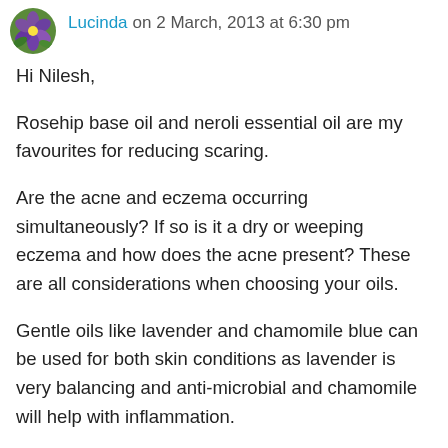Lucinda on 2 March, 2013 at 6:30 pm
Hi Nilesh,
Rosehip base oil and neroli essential oil are my favourites for reducing scaring.
Are the acne and eczema occurring simultaneously? If so is it a dry or weeping eczema and how does the acne present? These are all considerations when choosing your oils.
Gentle oils like lavender and chamomile blue can be used for both skin conditions as lavender is very balancing and anti-microbial and chamomile will help with inflammation.
All the best.